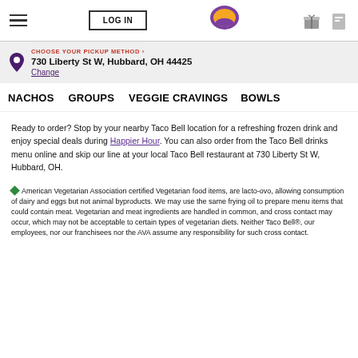LOG IN | Taco Bell logo | gift icon | card icon
CHOOSE YOUR PICKUP METHOD > 730 Liberty St W, Hubbard, OH 44425 Change
NACHOS   GROUPS   VEGGIE CRAVINGS   BOWLS
Ready to order? Stop by your nearby Taco Bell location for a refreshing frozen drink and enjoy special deals during Happier Hour. You can also order from the Taco Bell drinks menu online and skip our line at your local Taco Bell restaurant at 730 Liberty St W, Hubbard, OH.
◆American Vegetarian Association certified Vegetarian food items, are lacto-ovo, allowing consumption of dairy and eggs but not animal byproducts. We may use the same frying oil to prepare menu items that could contain meat. Vegetarian and meat ingredients are handled in common, and cross contact may occur, which may not be acceptable to certain types of vegetarian diets. Neither Taco Bell®, our employees, nor our franchisees nor the AVA assume any responsibility for such cross contact.